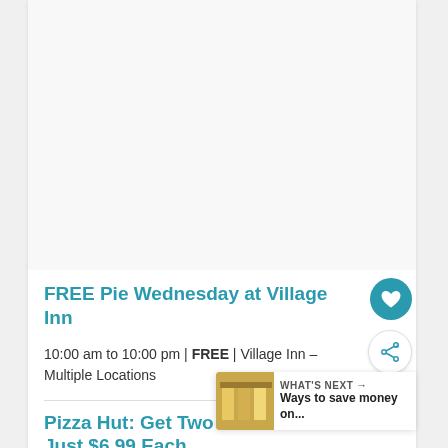FREE Pie Wednesday at Village Inn
10:00 am to 10:00 pm | FREE | Village Inn – Multiple Locations
Pizza Hut: Get Two Medium Pizzas for Just $6.99 Each